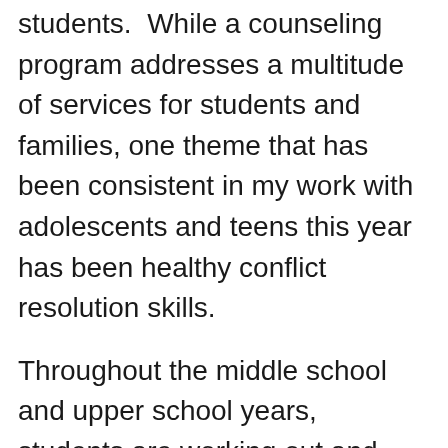students.  While a counseling program addresses a multitude of services for students and families, one theme that has been consistent in my work with adolescents and teens this year has been healthy conflict resolution skills.
Throughout the middle school and upper school years, students are working out and learning how to disagree, communicate assertively, show respect and empathy, all while tackling the challenge of taking on the perspective of another.  Of course, these challenges and skills play out at home as well.